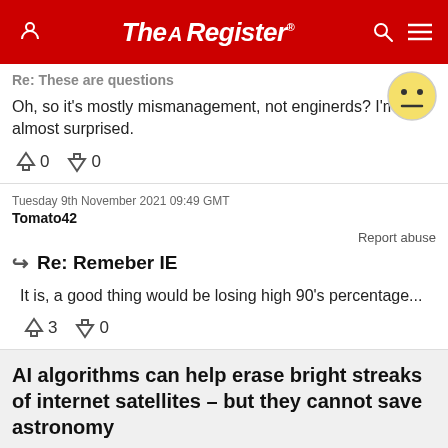The Register
Re: These are questions
Oh, so it's mostly mismanagement, not enginerds? I'm almost surprised.
↑0 ↓0
Tuesday 9th November 2021 09:49 GMT
Tomato42
Report abuse
Re: Remeber IE
It is, a good thing would be losing high 90's percentage...
↑3 ↓0
AI algorithms can help erase bright streaks of internet satellites – but they cannot save astronomy